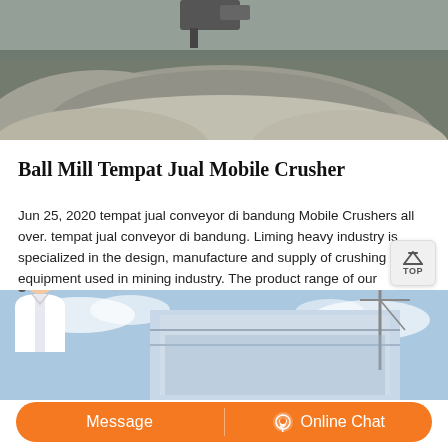[Figure (photo): Industrial image showing a pile of crushed stone/gravel aggregate at a mining or quarry operation, with machinery visible at the top]
Ball Mill Tempat Jual Mobile Crusher
Jun 25, 2020 tempat jual conveyor di bandung Mobile Crushers all over. tempat jual conveyor di bandung. Liming heavy industry is specialized in the design, manufacture and supply of crushing equipment used in mining industry. The product range of our company comprises mobile crushing plant, jaw crusher, cone crusher, impact crusher, milling equipment, bal…
[Figure (photo): Industrial facility photograph showing a building structure with cranes and blue sky background; customer service representative image overlaid on left side]
[Figure (infographic): Orange chat bar with Message button on left and Online Chat button with headset icon on right]